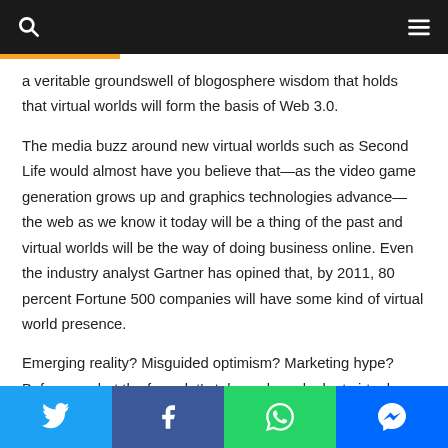Navigation bar with search and menu icons
a veritable groundswell of blogosphere wisdom that holds that virtual worlds will form the basis of Web 3.0.
The media buzz around new virtual worlds such as Second Life would almost have you believe that—as the video game generation grows up and graphics technologies advance—the web as we know it today will be a thing of the past and virtual worlds will be the way of doing business online. Even the industry analyst Gartner has opined that, by 2011, 80 percent Fortune 500 companies will have some kind of virtual world presence.
Emerging reality? Misguided optimism? Marketing hype? Before you bet the farm, let's take a closer look at virtual worlds to understand their strengths, weaknesses and
Social share buttons: Twitter, Facebook, WhatsApp, Messenger